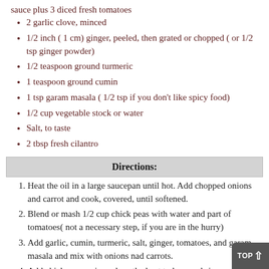sauce plus 3 diced fresh tomatoes
2 garlic clove, minced
1/2 inch ( 1 cm) ginger, peeled, then grated or chopped ( or 1/2 tsp ginger powder)
1/2 teaspoon ground turmeric
1 teaspoon ground cumin
1 tsp garam masala ( 1/2 tsp if you don't like spicy food)
1/2 cup vegetable stock or water
Salt, to taste
2 tbsp fresh cilantro
Directions:
Heat the oil in a large saucepan until hot. Add chopped onions and carrot and cook, covered, until softened.
Blend or mash 1/2 cup chick peas with water and part of tomatoes( not a necessary step, if you are in the hurry)
Add garlic, cumin, turmeric, salt, ginger, tomatoes, and garam masala and mix with onions nad carrots.
Add chick peas, mix, reduce the heat to low, and simmer for